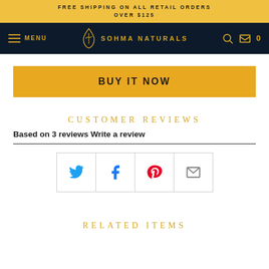FREE SHIPPING ON ALL RETAIL ORDERS OVER $125
[Figure (screenshot): Sohma Naturals navigation bar with hamburger menu, logo, search and cart icons]
BUY IT NOW
CUSTOMER REVIEWS
Based on 3 reviews Write a review
[Figure (infographic): Social sharing icons: Twitter, Facebook, Pinterest, Email]
RELATED ITEMS